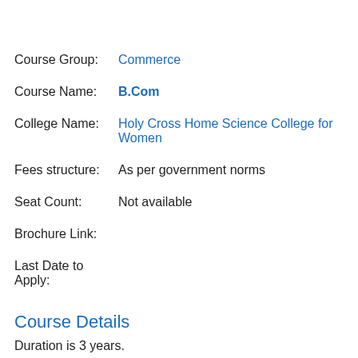Course Group: Commerce
Course Name: B.Com
College Name: Holy Cross Home Science College for Women
Fees structure: As per government norms
Seat Count: Not available
Brochure Link:
Last Date to Apply:
Course Details
Duration is 3 years.